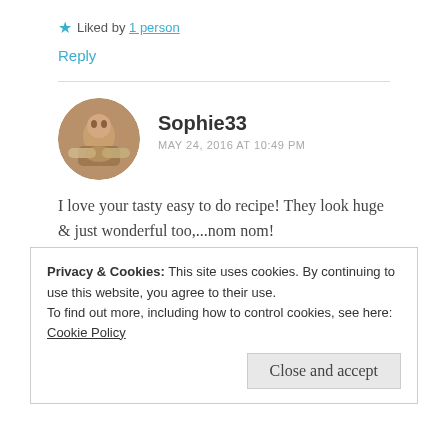★ Liked by 1 person
Reply
Sophie33
MAY 24, 2016 AT 10:49 PM
I love your tasty easy to do recipe! They look huge & just wonderful too,...nom nom!
★ Liked by 1 person
Privacy & Cookies: This site uses cookies. By continuing to use this website, you agree to their use.
To find out more, including how to control cookies, see here: Cookie Policy
Close and accept